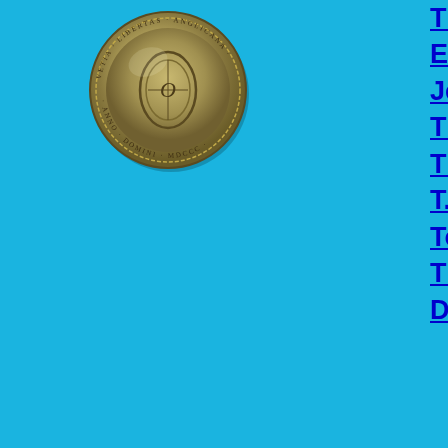[Figure (photo): A silver coin showing an ornate design with a central oval motif and circular text inscription around the edge, presented against a blue background.]
The 'Great Seals' of Britain from...
English Jettons.
Jettons, or Reckoning Counters.
The London Numismatic Club.
The Collectors Circle. Interesting...
T.H.H.O.L. - Tower Hamlets Histo...
Tower Hamlets Numismatics (Co...
The American Zylonite Company....
Docklands Light Railway - The ea...
The Site Webmas...
To email the webmaste...